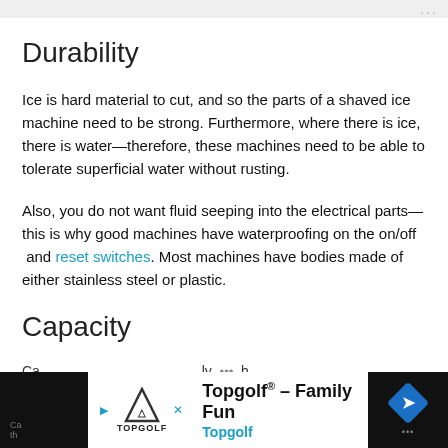Durability
Ice is hard material to cut, and so the parts of a shaved ice machine need to be strong. Furthermore, where there is ice, there is water—therefore, these machines need to be able to tolerate superficial water without rusting.
Also, you do not want fluid seeping into the electrical parts—this is why good machines have waterproofing on the on/off  and reset switches. Most machines have bodies made of either stainless steel or plastic.
Capacity
Ca... th...
[Figure (other): Advertisement banner for Topgolf - Family Fun featuring Topgolf logo, play and close icons, and a blue navigation arrow diamond icon]